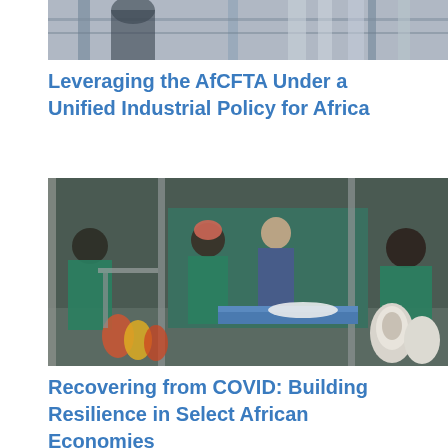[Figure (photo): Top portion of a photo showing industrial or textile equipment with metallic structures]
Leveraging the AfCFTA Under a Unified Industrial Policy for Africa
[Figure (photo): Workers in green uniforms working in a garment/textile factory with sewing machines and thread spools]
Recovering from COVID: Building Resilience in Select African Economies